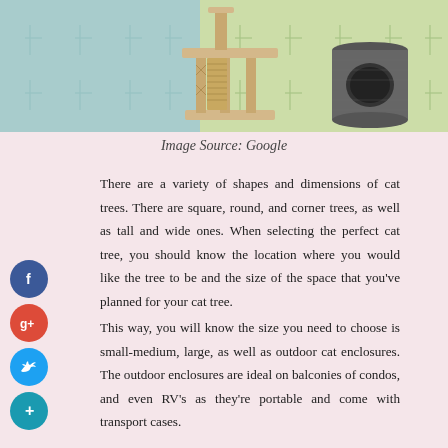[Figure (photo): Photo of cat trees/scratching posts on a colorful patterned background — a beige sisal cat tree on the left and a dark grey cylindrical cat condo on the right, displayed against a teal and green grid-patterned background.]
Image Source: Google
There are a variety of shapes and dimensions of cat trees. There are square, round, and corner trees, as well as tall and wide ones. When selecting the perfect cat tree, you should know the location where you would like the tree to be and the size of the space that you've planned for your cat tree.
This way, you will know the size you need to choose is small-medium, large, as well as outdoor cat enclosures. The outdoor enclosures are ideal on balconies of condos, and even RV's as they're portable and come with transport cases.